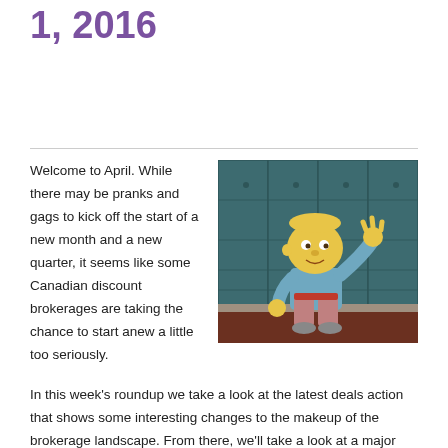1, 2016
Welcome to April. While there may be pranks and gags to kick off the start of a new month and a new quarter, it seems like some Canadian discount brokerages are taking the chance to start anew a little too seriously.
[Figure (illustration): Cartoon illustration of Ralph Wiggum from The Simpsons standing in front of school lockers, waving.]
In this week's roundup we take a look at the latest deals action that shows some interesting changes to the makeup of the brokerage landscape. From there, we'll take a look at a major online brokerage that sees nothing but upside as they bet big on technology. Technology also